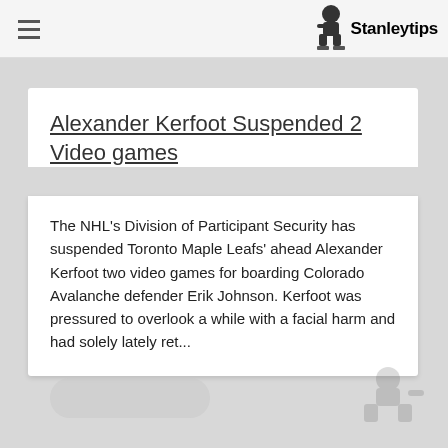Stanleytips
Alexander Kerfoot Suspended 2 Video games
The NHL's Division of Participant Security has suspended Toronto Maple Leafs' ahead Alexander Kerfoot two video games for boarding Colorado Avalanche defender Erik Johnson. Kerfoot was pressured to overlook a while with a facial harm and had solely lately ret...